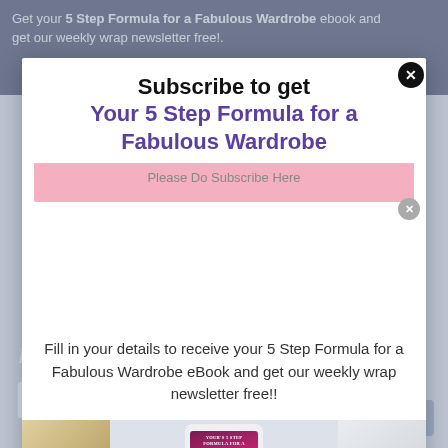Get your 5 Step Formula for a Fabulous Wardrobe ebook and get our weekly wrap newsletter free!.
Subscribe to get
Your 5 Step Formula for a Fabulous Wardrobe
Fill in your details to receive your 5 Step Formula for a Fabulous Wardrobe eBook and get our weekly wrap newsletter free!!
[Figure (photo): Phone displaying the 5 Step Formula for a Fabulous Wardrobe ebook cover, surrounded by a tea cup and marble surface]
Blog Archive